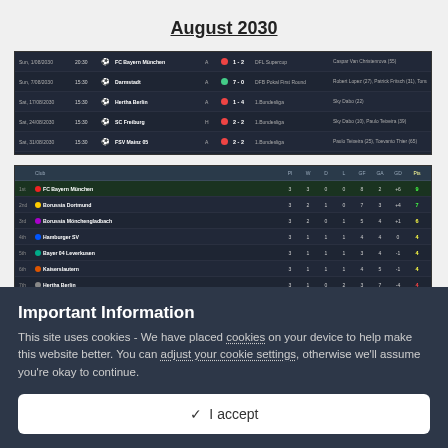August 2030
[Figure (screenshot): Football Manager match results table showing 5 matches in August 2030 with dates, times, opponents, scores, competition names, and goal scorers on a dark background.]
[Figure (screenshot): Football Manager league table showing standings with columns for played, won, drawn, lost, goals for, goals against, goal difference, and points on a dark background.]
Important Information
This site uses cookies - We have placed cookies on your device to help make this website better. You can adjust your cookie settings, otherwise we'll assume you're okay to continue.
✓  I accept